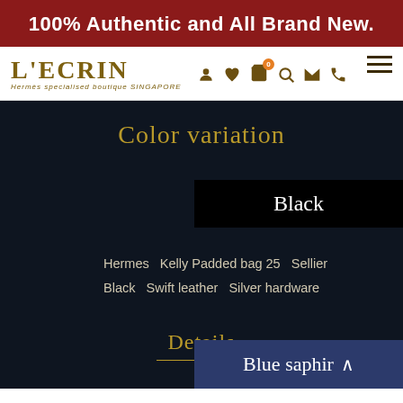100% Authentic and All Brand New.
[Figure (logo): L'ECRIN - Hermes specialised boutique SINGAPORE logo with navigation icons]
Color variation
Black
Hermes   Kelly Padded bag 25   Sellier   Black   Swift leather   Silver hardware
Details
Blue saphir